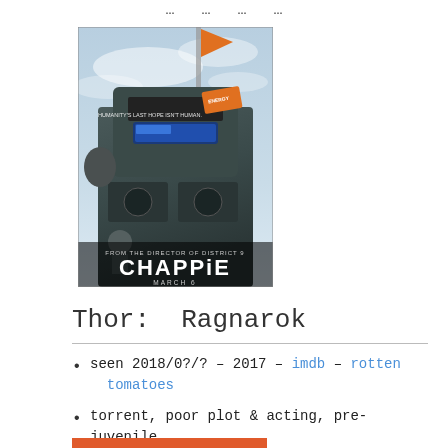…  …  …  …
[Figure (photo): Movie poster for Chappie (2015). Shows a robot figure against a sky background with the text 'HUMANITY'S LAST HOPE ISN'T HUMAN', 'FROM THE DIRECTOR OF DISTRICT 9', 'CHAPPiE', 'MARCH 6', IMAX logo. Orange flag/marker at top.]
Thor: Ragnarok
seen 2018/0?/? – 2017 – imdb – rotten tomatoes
torrent, poor plot & acting, pre-juvenile humor, cate blanchett(?), beautiful cg, colorfull planet